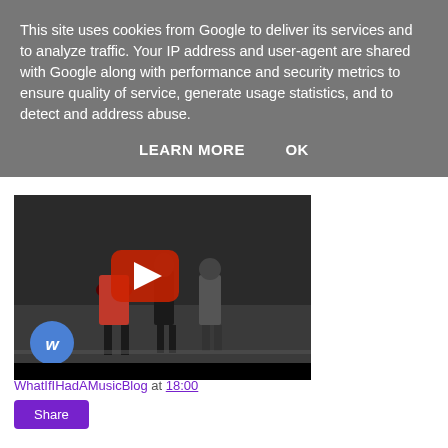This site uses cookies from Google to deliver its services and to analyze traffic. Your IP address and user-agent are shared with Google along with performance and security metrics to ensure quality of service, generate usage statistics, and to detect and address abuse.
LEARN MORE   OK
[Figure (screenshot): YouTube video thumbnail showing people walking on a street with a red YouTube play button overlay and Warner Music logo in bottom left corner]
WhatIfIHadAMusicBlog at 18:00
Share
2 comments: